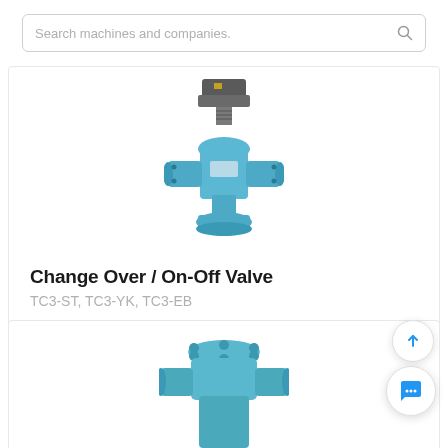Search machines and companies.
[Figure (photo): Blue industrial change over / on-off valve with actuator on top, flanged connections, viewed from front]
Change Over / On-Off Valve
TC3-ST, TC3-YK, TC3-EB
[Figure (photo): Partial view of a second blue industrial valve, showing top flange and body, cropped at bottom of page]